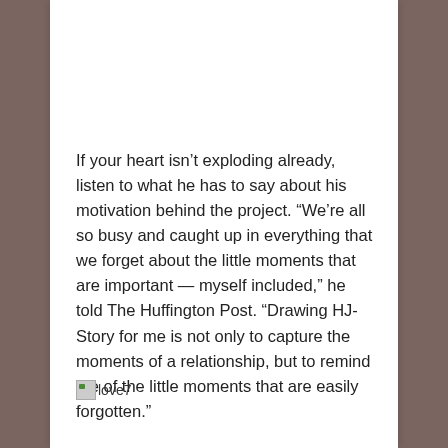If your heart isn't exploding already, listen to what he has to say about his motivation behind the project. “We’re all so busy and caught up in everything that we forget about the little moments that are important — myself included,” he told The Huffington Post. “Drawing HJ-Story for me is not only to capture the moments of a relationship, but to remind me of the little moments that are easily forgotten.”
[Figure (other): Broken image placeholder labeled 'love7']